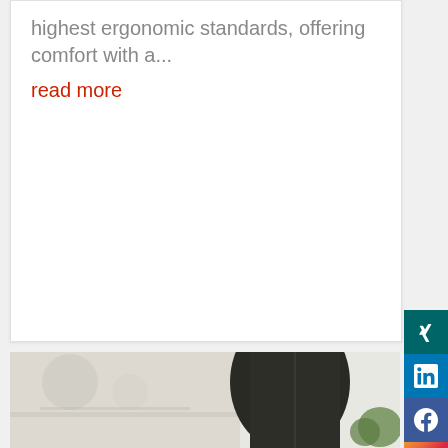highest ergonomic standards, offering comfort with a...
read more
[Figure (photo): Partial view of an ergonomic office chair in a bright office setting, dark upholstery]
[Figure (other): Social media share icons: Xing, LinkedIn, Facebook, Instagram]